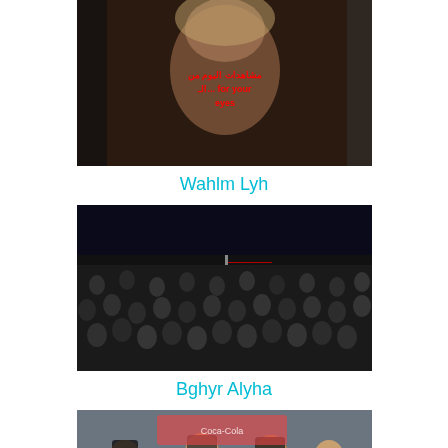[Figure (screenshot): Video thumbnail showing a woman's face with red text overlay, dark background]
Wahlm Lyh
[Figure (screenshot): Video thumbnail showing a large crowd of people at an event, with a flag visible]
Bghyr Alyha
[Figure (screenshot): Video thumbnail showing young people on a street, with a watermark 'lstreigh.net']
Nzrh Ayn - Hythm Shakr
[Figure (screenshot): Partial video thumbnail, bottom of page, cut off]